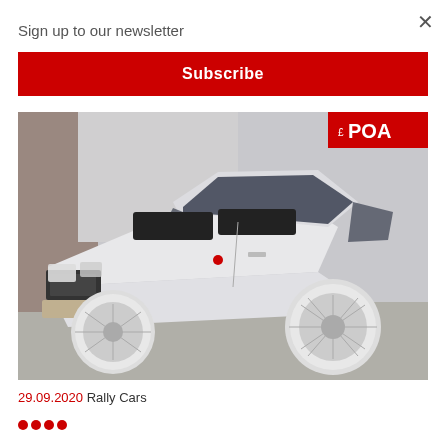×
Sign up to our newsletter
Subscribe
[Figure (photo): White Lancia Delta Integrale rally car photographed from a front three-quarter angle, showing the bonnet with black stripes/vents, white multi-spoke alloy wheels, and a red POA price badge in the top right corner of the image.]
29.09.2020 Rally Cars